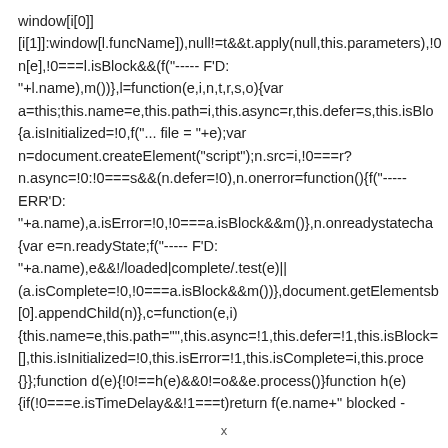window[i[0]]
[i[1]]:window[l.funcName]),null!=t&&t.apply(null,this.parameters),!0
n[e],!0===l.isBlock&&(f("----- F'D:
"+l.name),m())},l=function(e,i,n,t,r,s,o){var
a=this;this.name=e,this.path=i,this.async=r,this.defer=s,this.isBlo
{a.isInitialized=!0,f("... file = "+e);var
n=document.createElement("script");n.src=i,!0===r?
n.async=!0:!0===s&&(n.defer=!0),n.onerror=function(){f("-----
ERR'D:
"+a.name),a.isError=!0,!0===a.isBlock&&m()},n.onreadystatecha
{var e=n.readyState;f("----- F'D:
"+a.name),e&&!/loaded|complete/.test(e)||
(a.isComplete=!0,!0===a.isBlock&&m())},document.getElementsB
[0].appendChild(n)},c=function(e,i)
{this.name=e,this.path="",this.async=!1,this.defer=!1,this.isBlock=
[],this.isInitialized=!0,this.isError=!1,this.isComplete=i,this.proce
{}};function d(e){!0!==h(e)&&0!=o&&e.process()}function h(e)
{if(!0===e.isTimeDelay&&!1===t)return f(e.name+" blocked -
x